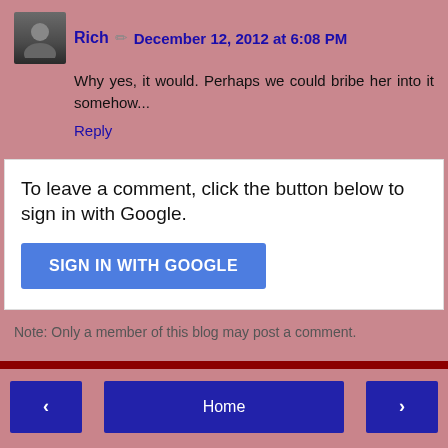Rich  December 12, 2012 at 6:08 PM
Why yes, it would. Perhaps we could bribe her into it somehow...
Reply
To leave a comment, click the button below to sign in with Google.
SIGN IN WITH GOOGLE
Note: Only a member of this blog may post a comment.
Home
View web version
Powered by Blogger.